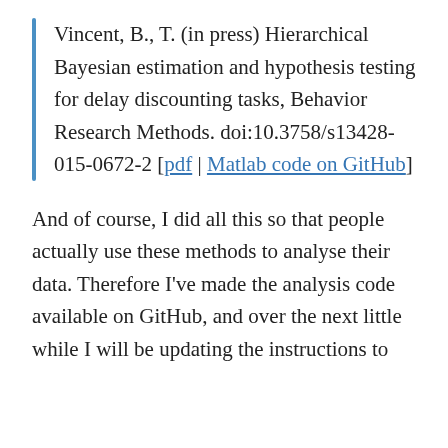Vincent, B., T. (in press) Hierarchical Bayesian estimation and hypothesis testing for delay discounting tasks, Behavior Research Methods. doi:10.3758/s13428-015-0672-2 [pdf | Matlab code on GitHub]
And of course, I did all this so that people actually use these methods to analyse their data. Therefore I've made the analysis code available on GitHub, and over the next little while I will be updating the instructions to